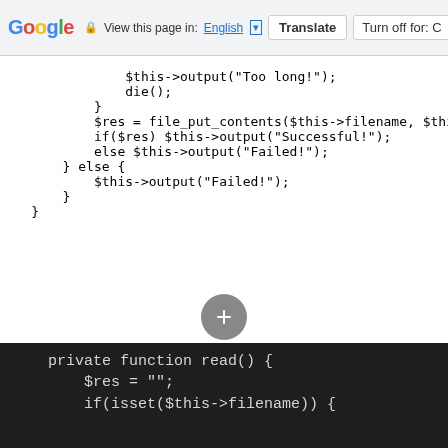Google | View this page in: English [▾] | Translate | Turn off for: C
$this->output("Too long!");
                die();
            }
            $res = file_put_contents($this->filename, $this->content);
            if($res) $this->output("Successful!");
            else $this->output("Failed!");
        } else {
            $this->output("Failed!");
        }
    }
private function read() {
        $res = "";
        if(isset($this->filename)) {